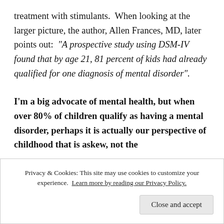treatment with stimulants.  When looking at the larger picture, the author, Allen Frances, MD, later points out:  "A prospective study using DSM-IV found that by age 21, 81 percent of kids had already qualified for one diagnosis of mental disorder".
I'm a big advocate of mental health, but when over 80% of children qualify as having a mental disorder, perhaps it is actually our perspective of childhood that is askew, not the
Privacy & Cookies: This site may use cookies to customize your experience. Learn more by reading our Privacy Policy.